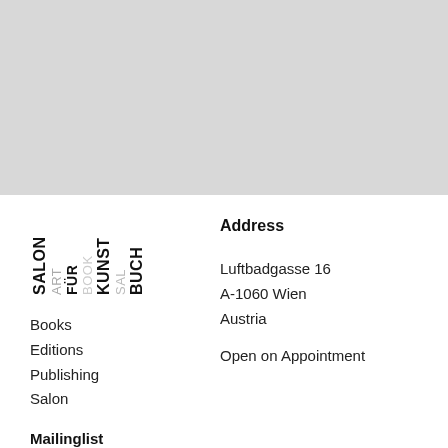[Figure (illustration): Large light gray rectangle occupying the top portion of the page]
[Figure (logo): Salon für Kunst Buch logo with stacked vertical text words: SALON, ART, FÜR, BOOK, KUNST, SALON, BUCH in alternating bold black and light gray]
Books
Editions
Publishing
Salon
Mailinglist
Address
Luftbadgasse 16
A-1060 Wien
Austria
Open on Appointment